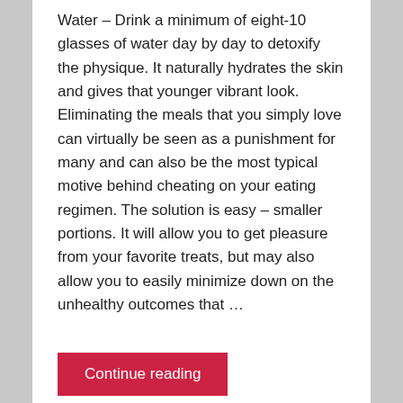Water – Drink a minimum of eight-10 glasses of water day by day to detoxify the physique. It naturally hydrates the skin and gives that younger vibrant look. Eliminating the meals that you simply love can virtually be seen as a punishment for many and can also be the most typical motive behind cheating on your eating regimen. The solution is easy – smaller portions. It will allow you to get pleasure from your favorite treats, but may also allow you to easily minimize down on the unhealthy outcomes that …
Continue reading
Health